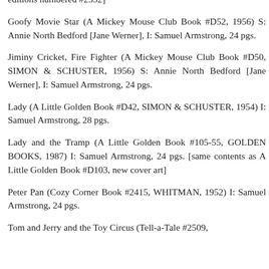editions numbered #2552]
Goofy Movie Star (A Mickey Mouse Club Book #D52, 1956) S: Annie North Bedford [Jane Werner], I: Samuel Armstrong, 24 pgs.
Jiminy Cricket, Fire Fighter (A Mickey Mouse Club Book #D50, SIMON & SCHUSTER, 1956) S: Annie North Bedford [Jane Werner], I: Samuel Armstrong, 24 pgs.
Lady (A Little Golden Book #D42, SIMON & SCHUSTER, 1954) I: Samuel Armstrong, 28 pgs.
Lady and the Tramp (A Little Golden Book #105-55, GOLDEN BOOKS, 1987) I: Samuel Armstrong, 24 pgs. [same contents as A Little Golden Book #D103, new cover art]
Peter Pan (Cozy Corner Book #2415, WHITMAN, 1952) I: Samuel Armstrong, 24 pgs.
Tom and Jerry and the Toy Circus (Tell-a-Tale #2509,